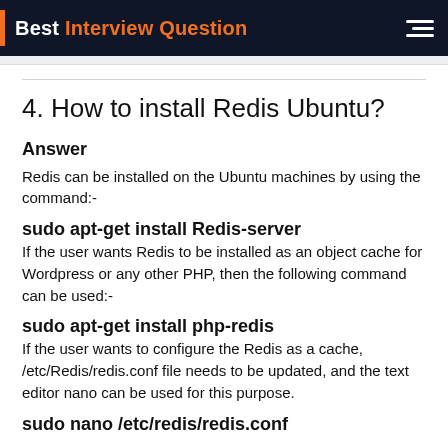Best Interview Question
4. How to install Redis Ubuntu?
Answer
Redis can be installed on the Ubuntu machines by using the command:-
sudo apt-get install Redis-server
If the user wants Redis to be installed as an object cache for Wordpress or any other PHP, then the following command can be used:-
sudo apt-get install php-redis
If the user wants to configure the Redis as a cache, /etc/Redis/redis.conf file needs to be updated, and the text editor nano can be used for this purpose.
sudo nano /etc/redis/redis.conf